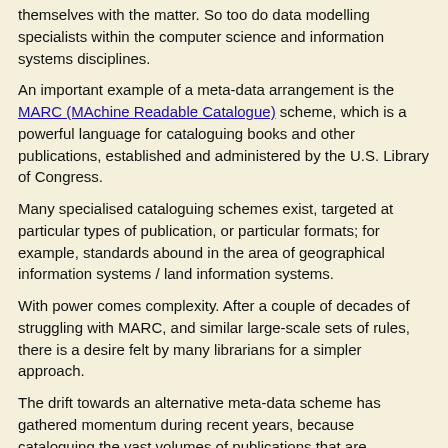themselves with the matter. So too do data modelling specialists within the computer science and information systems disciplines.
An important example of a meta-data arrangement is the MARC (MAchine Readable Catalogue) scheme, which is a powerful language for cataloguing books and other publications, established and administered by the U.S. Library of Congress.
Many specialised cataloguing schemes exist, targeted at particular types of publication, or particular formats; for example, standards abound in the area of geographical information systems / land information systems.
With power comes complexity. After a couple of decades of struggling with MARC, and similar large-scale sets of rules, there is a desire felt by many librarians for a simpler approach.
The drift towards an alternative meta-data scheme has gathered momentum during recent years, because cataloguing the vast volumes of publications that are exploding onto the world-wide web simply is not practical using powerful-but-complex mechanisms like MARC. There are too many documents; and too large a proportion of them are ephemeral, or are modified and replicated in ways that, from the perspective of conventional publishing, is too undisciplined. There is a need for a blend of self-cataloguing by originators, and automation.
"Why doesn't somebody do something?!", they all said. A group of